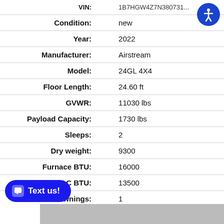| Field | Value |
| --- | --- |
| VIN: | 1B7HGW4Z7N3807... |
| Condition: | new |
| Year: | 2022 |
| Manufacturer: | Airstream |
| Model: | 24GL 4X4 |
| Floor Length: | 24.60 ft |
| GVWR: | 11030 lbs |
| Payload Capacity: | 1730 lbs |
| Sleeps: | 2 |
| Dry weight: | 9300 |
| Furnace BTU: | 16000 |
| AC BTU: | 13500 |
| Number of Awnings: | 1 |
PDFs / Files
Text us!